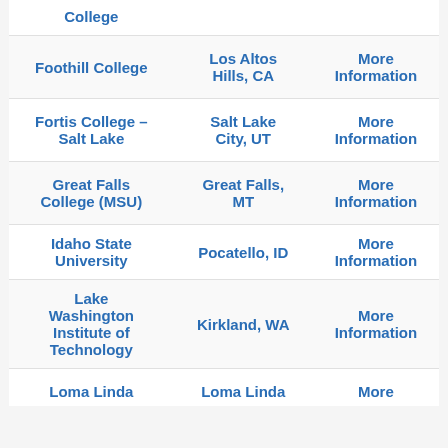| Institution | Location | Link |
| --- | --- | --- |
| College |  |  |
| Foothill College | Los Altos Hills, CA | More Information |
| Fortis College – Salt Lake | Salt Lake City, UT | More Information |
| Great Falls College (MSU) | Great Falls, MT | More Information |
| Idaho State University | Pocatello, ID | More Information |
| Lake Washington Institute of Technology | Kirkland, WA | More Information |
| Loma Linda | Loma Linda | More |